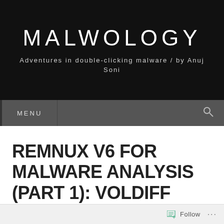MALWOLOGY
Adventures in double-clicking malware / by Anuj Soni
MENU
REMNUX V6 FOR MALWARE ANALYSIS (PART 1): VOLDIFF
Introduction
Follow